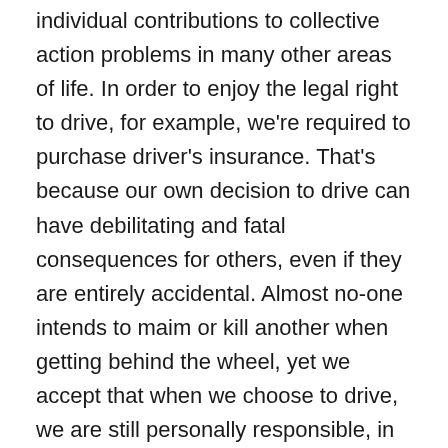individual contributions to collective action problems in many other areas of life. In order to enjoy the legal right to drive, for example, we're required to purchase driver's insurance. That's because our own decision to drive can have debilitating and fatal consequences for others, even if they are entirely accidental. Almost no-one intends to maim or kill another when getting behind the wheel, yet we accept that when we choose to drive, we are still personally responsible, in one way or another, for what happens as a consequence. We also accept that since we desire and enjoy such benefits and freedoms as the right to go our way unmolested by other people, to vote, to travel on public roads and bridges, and so on and so forth, we are responsible for contributing to those institutions that solve collective action problems, and contribute to the maintenance of the military, the police, infrastructure, legal system, and so forth, thorough our tax contributions and